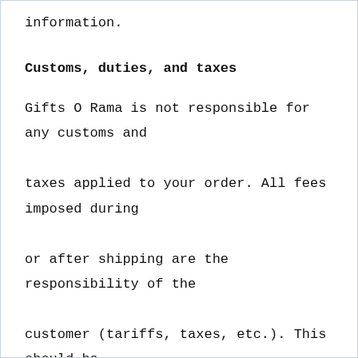is available, you will receive an email with tracking information.
Customs, duties, and taxes
Gifts O Rama is not responsible for any customs and taxes applied to your order. All fees imposed during or after shipping are the responsibility of the customer (tariffs, taxes, etc.). This should be impossible since we do not ship internationally.
Damages
Gifts O Rama is not liable for any products damaged or lost during shipping. If you received your order